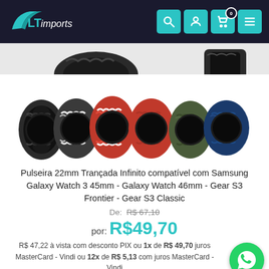[Figure (logo): LT Imports logo in teal/cyan color on dark navy background]
[Figure (photo): Partial view of smartwatch bands from above]
[Figure (photo): Six Samsung smartwatches with various colored braided solo loop bands: black, black/white, red/white, red, dark green, navy blue]
Pulseira 22mm Trançada Infinito compatível com Samsung Galaxy Watch 3 45mm - Galaxy Watch 46mm - Gear S3 Frontier - Gear S3 Classic
De: R$ 67,10
por: R$49,70
R$ 47,22 à vista com desconto PIX ou 1x de R$ 49,70 juros MasterCard - Vindi ou 12x de R$ 5,13 com juros MasterCard - Vindi